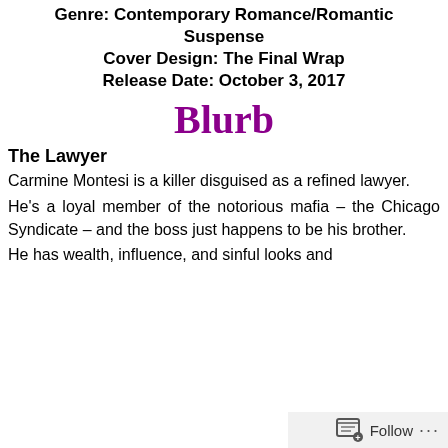Genre: Contemporary Romance/Romantic Suspense
Cover Design: The Final Wrap
Release Date: October 3, 2017
Blurb
The Lawyer
Carmine Montesi is a killer disguised as a refined lawyer.
He's a loyal member of the notorious mafia – the Chicago Syndicate – and the boss just happens to be his brother.
He has wealth, influence, and sinful looks and
Follow